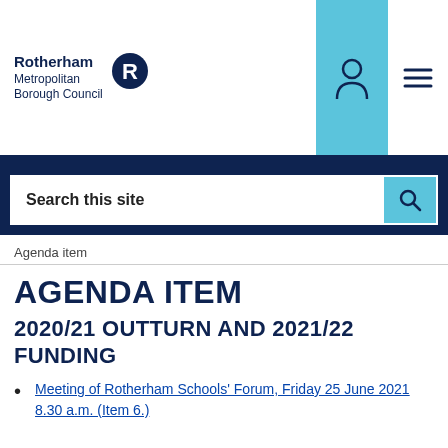[Figure (logo): Rotherham Metropolitan Borough Council logo with stylized R icon]
Search this site
Agenda item
AGENDA ITEM
2020/21 OUTTURN AND 2021/22 FUNDING
Meeting of Rotherham Schools' Forum, Friday 25 June 2021 8.30 a.m. (Item 6.)